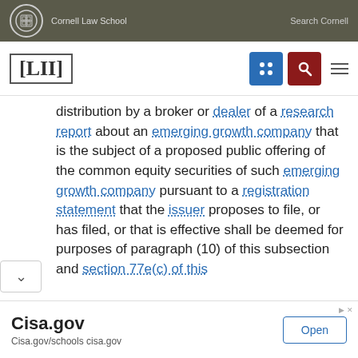Cornell Law School  Search Cornell
[Figure (logo): LII Legal Information Institute logo with navigation icons]
distribution by a broker or dealer of a research report about an emerging growth company that is the subject of a proposed public offering of the common equity securities of such emerging growth company pursuant to a registration statement that the issuer proposes to file, or has filed, or that is effective shall be deemed for purposes of paragraph (10) of this subsection and section 77e(c) of this
[Figure (other): Cisa.gov advertisement banner with Open button]